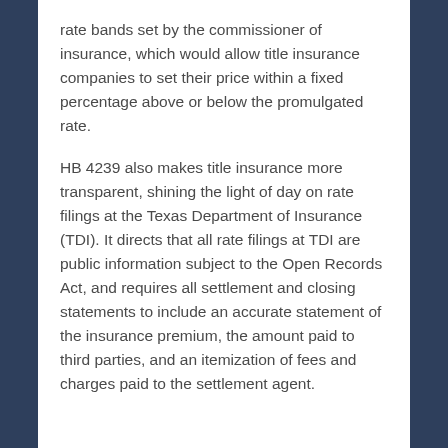rate bands set by the commissioner of insurance, which would allow title insurance companies to set their price within a fixed percentage above or below the promulgated rate.
HB 4239 also makes title insurance more transparent, shining the light of day on rate filings at the Texas Department of Insurance (TDI). It directs that all rate filings at TDI are public information subject to the Open Records Act, and requires all settlement and closing statements to include an accurate statement of the insurance premium, the amount paid to third parties, and an itemization of fees and charges paid to the settlement agent.